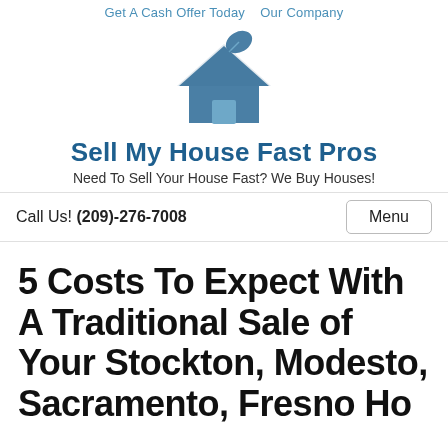Get A Cash Offer Today   Our Company
[Figure (logo): House icon with a leaf on top, in steel blue color — logo for Sell My House Fast Pros]
Sell My House Fast Pros
Need To Sell Your House Fast? We Buy Houses!
Call Us! (209)-276-7008
Menu
5 Costs To Expect With A Traditional Sale of Your Stockton, Modesto, Sacramento, Fresno Ho...